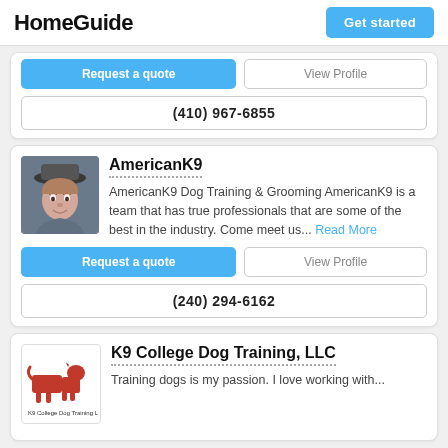HomeGuide
(410) 967-6855
AmericanK9
AmericanK9 Dog Training & Grooming AmericanK9 is a team that has true professionals that are some of the best in the industry. Come meet us... Read More
(240) 294-6162
K9 College Dog Training, LLC
Training dogs is my passion. I love working with...